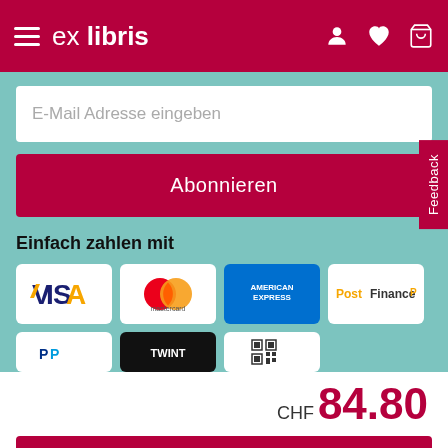ex libris
E-Mail Adresse eingeben
Abonnieren
Feedback
Einfach zahlen mit
[Figure (logo): VISA logo]
[Figure (logo): Mastercard logo]
[Figure (logo): American Express logo]
[Figure (logo): PostFinance logo]
CHF 84.80
In den Warenkorb